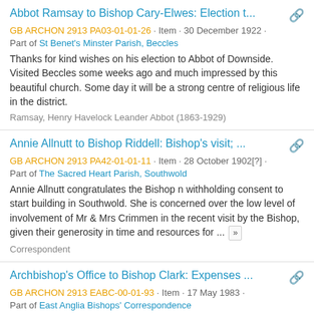Abbot Ramsay to Bishop Cary-Elwes: Election t... | GB ARCHON 2913 PA03-01-01-26 · Item · 30 December 1922 · Part of St Benet's Minster Parish, Beccles | Thanks for kind wishes on his election to Abbot of Downside. Visited Beccles some weeks ago and much impressed by this beautiful church. Some day it will be a strong centre of religious life in the district. | Ramsay, Henry Havelock Leander Abbot (1863-1929)
Annie Allnutt to Bishop Riddell: Bishop's visit; ... | GB ARCHON 2913 PA42-01-01-11 · Item · 28 October 1902[?] · Part of The Sacred Heart Parish, Southwold | Annie Allnutt congratulates the Bishop n withholding consent to start building in Southwold. She is concerned over the low level of involvement of Mr & Mrs Crimmen in the recent visit by the Bishop, given their generosity in time and resources for ... | Correspondent
Archbishop's Office to Bishop Clark: Expenses ... | GB ARCHON 2913 EABC-00-01-93 · Item · 17 May 1983 · Part of East Anglia Bishops' Correspondence | Mgr David Norris sending reimbursement (£404.40) of